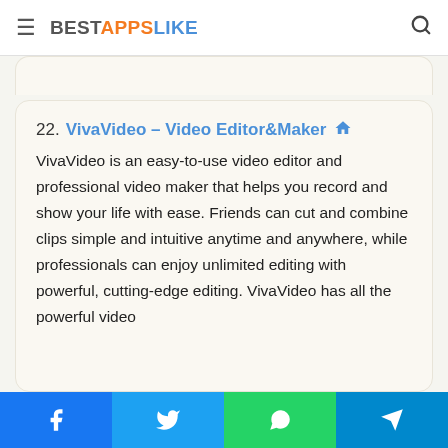BESTAPPSLIKE
22. VivaVideo – Video Editor&Maker
VivaVideo is an easy-to-use video editor and professional video maker that helps you record and show your life with ease. Friends can cut and combine clips simple and intuitive anytime and anywhere, while professionals can enjoy unlimited editing with powerful, cutting-edge editing. VivaVideo has all the powerful video
[Figure (screenshot): VivaVideo app icon — orange/red background with white stylized figure/logo]
Facebook | Twitter | WhatsApp | Telegram social share buttons